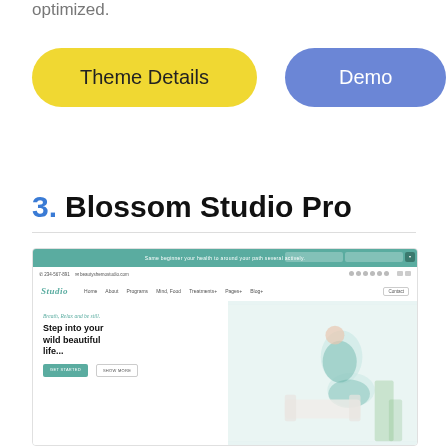optimized.
[Figure (screenshot): Two buttons: a yellow rounded button labeled 'Theme Details' and a blue rounded button labeled 'Demo']
3. Blossom Studio Pro
[Figure (screenshot): Screenshot of the Blossom Studio Pro WordPress theme showing a teal header bar, navigation menu with 'Studio' logo, and hero section with text 'Breath, Relax and be still. Step into your wild beautiful life...' alongside a photo of a woman doing yoga in teal activewear.]